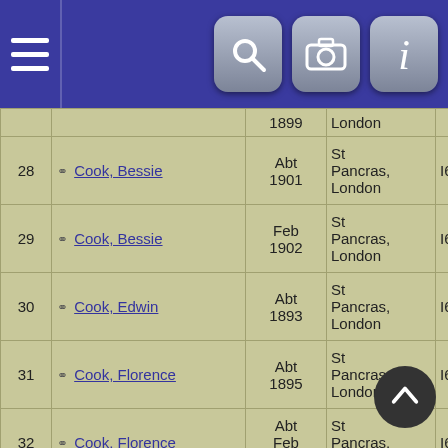Navigation bar with hamburger menu, search, camera, and info icons
| # | Name | Date | Place | ID |
| --- | --- | --- | --- | --- |
|  |  | 1899 | London |  |
| 28 | Cook, Bessie | Abt 1901 | St Pancras, London | I61553 |
| 29 | Cook, Bessie | Feb 1902 | St Pancras, London | I61553 |
| 30 | Cook, Edwin | Abt 1893 | St Pancras, London | I61556 |
| 31 | Cook, Florence | Abt 1895 | St Pancras, London | I61558 |
| 32 | Cook, Florence | Abt Feb 1896 | St Pancras, London | I61558 |
| 33 | Cook, Helen | Abt 1886 | St Pancras, London | I61560 |
| 34 | Cook, James | Abt 1884 | St Pancras, London | I6156… |
|  |  | Abt | St |  |